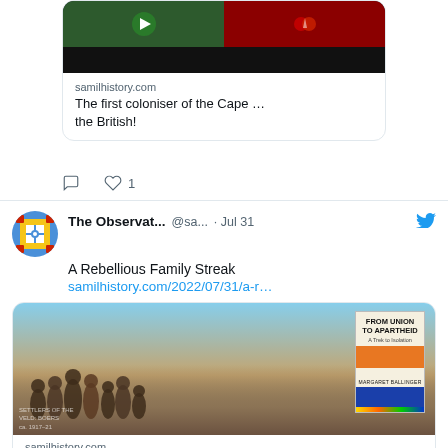[Figure (screenshot): Top portion of a tweet showing a link preview for samilhistory.com with article title 'The first coloniser of the Cape … the British!' showing a dark image with green and red sections, comment and like icons below (1 like)]
[Figure (screenshot): Second tweet by 'The Observat...' (@sa...) dated Jul 31 with Twitter bird icon. Text: 'A Rebellious Family Streak' with link samilhistory.com/2022/07/31/a-r... and link preview image showing a group of people outdoors with a book cover 'FROM UNION TO APARTHEID - A Trek to Isolation' by Margaret Ballinger. Link preview shows domain samilhistory.com and title 'A Rebellious Family Streak']